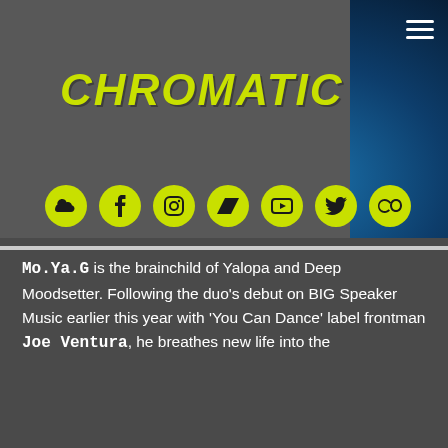[Figure (screenshot): Website header with dark grey panel, CHROMATIC logo in yellow-green distressed italic type, social media icons in yellow-green circles (SoundCloud, Facebook, Instagram, Bandcamp, YouTube, Twitter, Last.fm), hamburger menu icon top-right, blue radial glow background]
CHROMATIC
Mo.Ya.G is the brainchild of Yalopa and Deep Moodsetter. Following the duo's debut on BIG Speaker Music earlier this year with 'You Can Dance' label frontman Joe Ventura, he breathes new life into the